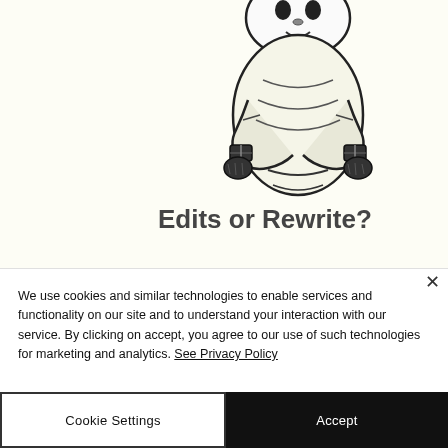[Figure (illustration): Black and white line drawing of a cartoon character wrapped tightly in a straitjacket with buckles, arms crossed in front.]
Edits or Rewrite?
We use cookies and similar technologies to enable services and functionality on our site and to understand your interaction with our service. By clicking on accept, you agree to our use of such technologies for marketing and analytics. See Privacy Policy